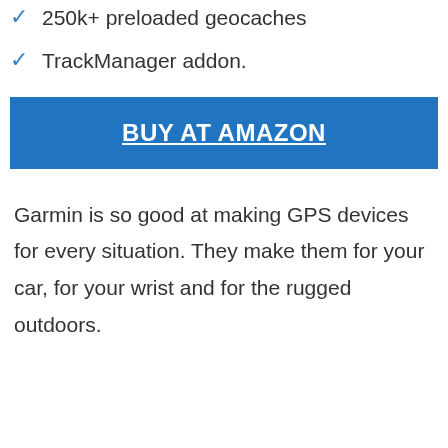250k+ preloaded geocaches
TrackManager addon.
BUY AT AMAZON
Garmin is so good at making GPS devices for every situation. They make them for your car, for your wrist and for the rugged outdoors.